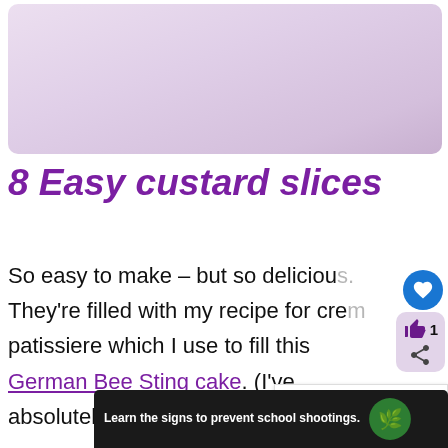[Figure (photo): Light purple/lavender hero image of custard slices, top of page]
8 Easy custard slices
So easy to make – but so delicious. They're filled with my recipe for crem patissiere which I use to fill this German Bee Sting cake. (I've absolutely no idea why this bec...
[Figure (infographic): Ad banner: Learn the signs to prevent school shootings. Sandy Hook Promise.]